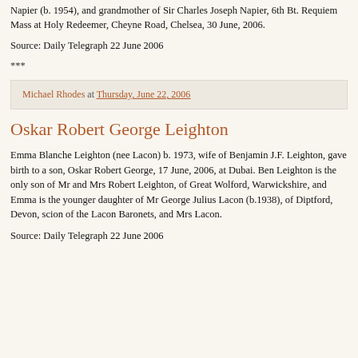Napier (b. 1954), and grandmother of Sir Charles Joseph Napier, 6th Bt. Requiem Mass at Holy Redeemer, Cheyne Road, Chelsea, 30 June, 2006.
Source: Daily Telegraph 22 June 2006
***
Michael Rhodes at Thursday, June 22, 2006
Oskar Robert George Leighton
Emma Blanche Leighton (nee Lacon) b. 1973, wife of Benjamin J.F. Leighton, gave birth to a son, Oskar Robert George, 17 June, 2006, at Dubai. Ben Leighton is the only son of Mr and Mrs Robert Leighton, of Great Wolford, Warwickshire, and Emma is the younger daughter of Mr George Julius Lacon (b.1938), of Diptford, Devon, scion of the Lacon Baronets, and Mrs Lacon.
Source: Daily Telegraph 22 June 2006